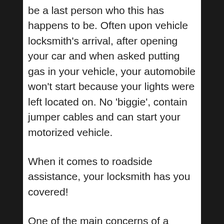be a last person who this has happens to be. Often upon vehicle locksmith's arrival, after opening your car and when asked putting gas in your vehicle, your automobile won't start because your lights were left located on. No 'biggie', contain jumper cables and can start your motorized vehicle.
When it comes to roadside assistance, your locksmith has you covered!
One of the main concerns of a father or mother is having something prefer this happen while their newborn is inside the car. Should you find yourself in this position, hit your emergency car locksmith speed dial